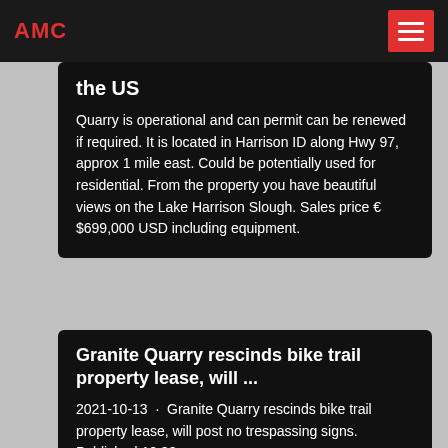AMC
the US
Quarry is operational and can permit can be renewed if required. It is located in Harrison ID along Hwy 97, approx 1 mile east. Could be potentially used for residential. From the property you have beautiful views on the Lake Harrison Slough. Sales price € $699,000 USD including equipment.
Granite Quarry rescinds bike trail property lease, will ...
2021-10-13 · Granite Quarry rescinds bike trail property lease, will post no trespassing signs. Published 12:00 am